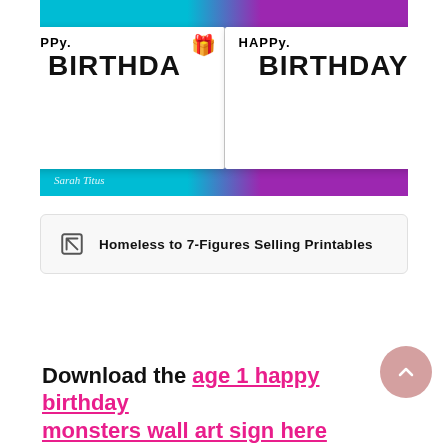[Figure (photo): Happy Birthday card image displayed against teal and purple background. Two birthday cards side by side showing 'Happy Birthday' text with cartoon monsters/characters and gift boxes. Watermark 'Sarah Titus' in bottom left.]
Homeless to 7-Figures Selling Printables
Download the age 1 happy birthday monsters wall art sign here